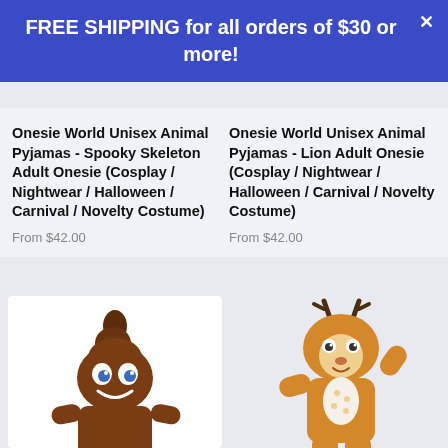FREE SHIPPING for all orders of $30 or more!
Onesie World Unisex Animal Pyjamas - Spooky Skeleton Adult Onesie (Cosplay / Nightwear / Halloween / Carnival / Novelty Costume)
From $42.00
Onesie World Unisex Animal Pyjamas - Lion Adult Onesie (Cosplay / Nightwear / Halloween / Carnival / Novelty Costume)
From $42.00
[Figure (photo): Person wearing a brown poop emoji onesie costume with eyes and smile on the hood]
[Figure (photo): Person wearing an orange/tan deer onesie costume with antlers on the hood]